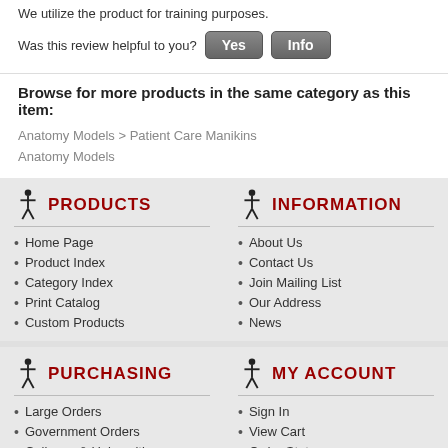We utilize the product for training purposes.
Was this review helpful to you? Yes Info
Browse for more products in the same category as this item:
Anatomy Models > Patient Care Manikins
Anatomy Models
PRODUCTS
Home Page
Product Index
Category Index
Print Catalog
Custom Products
INFORMATION
About Us
Contact Us
Join Mailing List
Our Address
News
PURCHASING
Large Orders
Government Orders
Colleges & Universities
MY ACCOUNT
Sign In
View Cart
Order Status